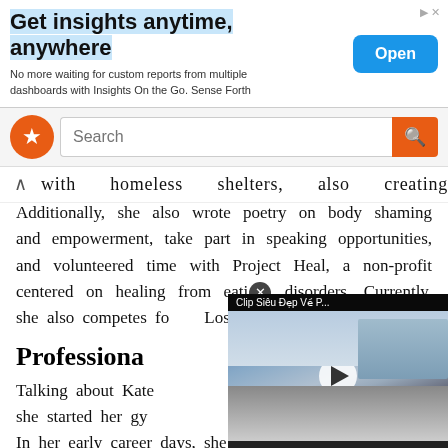[Figure (screenshot): Advertisement banner: 'Get insights anytime, anywhere' with blue highlighted title, subtitle text 'No more waiting for custom reports from multiple dashboards with Insights On the Go. Sense Forth', and blue 'Open' button on the right.]
[Figure (screenshot): Search bar row with orange star logo on left, search input, and orange search button on right.]
with homeless shelters, also creating a
Additionally, she also wrote poetry on body shaming and empowerment, take part in speaking opportunities, and volunteered time with Project Heal, a non-profit centered on healing from eating disorders. Currently, she also competes for the University of California Los Angeles and is
Professiona
Talking about Kate she started her gy In her early career days, she trained with Al
[Figure (screenshot): Video overlay showing 'Clip Siêu Đẹp Về P...' title with a road/bridge scene thumbnail and a play button.]